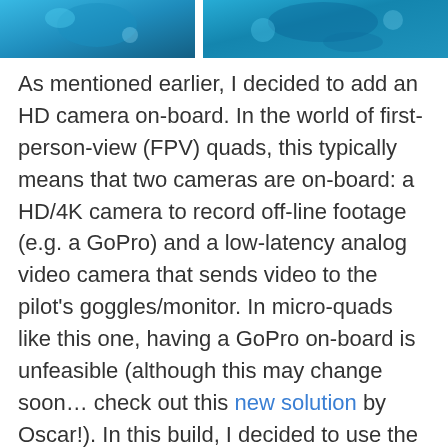[Figure (photo): Two cropped images side by side showing decorative items with blue/teal colors and embellishments, partially visible at the top of the page.]
As mentioned earlier, I decided to add an HD camera on-board. In the world of first-person-view (FPV) quads, this typically means that two cameras are on-board: a HD/4K camera to record off-line footage (e.g. a GoPro) and a low-latency analog video camera that sends video to the pilot's goggles/monitor. In micro-quads like this one, having a GoPro on-board is unfeasible (although this may change soon… check out this new solution by Oscar!). In this build, I decided to use the Runcam split 3 nano whoop camera that I had hanging around from a previous quad. This small camera (10.2g) records video with 1080@60fps, while still providing a reasonable FPV feed (checkout this review by Nick Burns). I